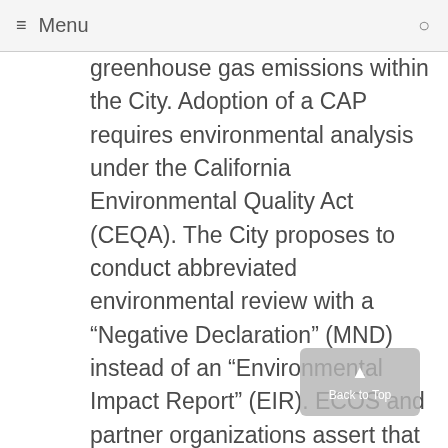Menu
greenhouse gas emissions within the City. Adoption of a CAP requires environmental analysis under the California Environmental Quality Act (CEQA). The City proposes to conduct abbreviated environmental review with a “Negative Declaration” (MND) instead of an “Environmental Impact Report” (EIR). ECOS and partner organizations assert that abbreviated review would not be legally acceptable, and further